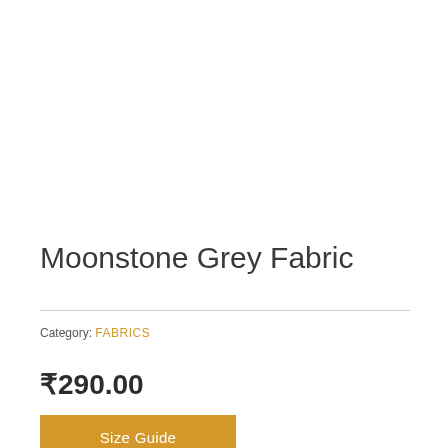Moonstone Grey Fabric
Category: FABRICS
₹290.00
Size Guide